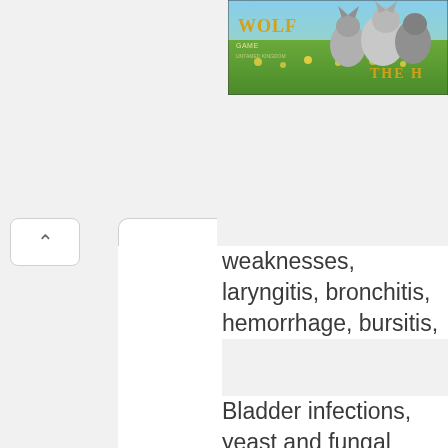[Figure (screenshot): Partial banner advertisement showing Wolf game with wolves in a nature scene, partially cropped]
weaknesses, laryngitis, bronchitis, hemorrhage, bursitis,
Bladder infections, yeast and fungal infections, cystitis, arthritis and prostatitis.